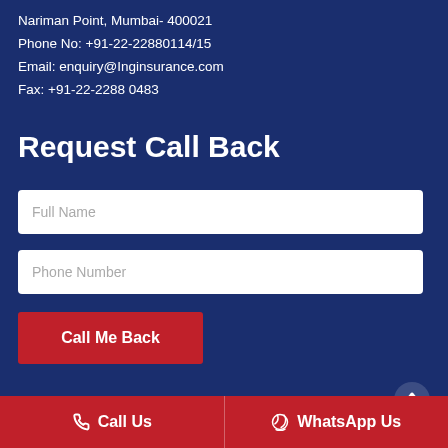Nariman Point, Mumbai- 400021
Phone No: +91-22-22880114/15
Email: enquiry@Inginsurance.com
Fax: +91-22-2288 0483
Request Call Back
Full Name
Phone Number
Call Me Back
© Copyright L&G Insurance 2022. All Right Reser...
Call Us
WhatsApp Us